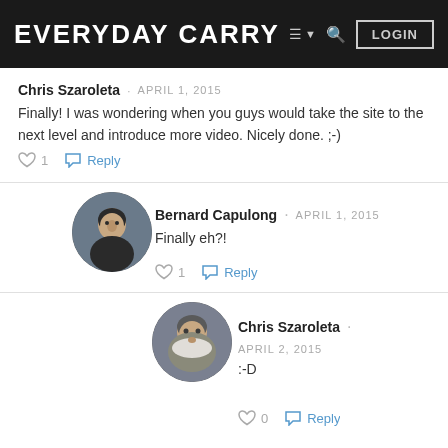EVERYDAY CARRY  LOGIN
Chris Szaroleta · APRIL 1, 2015
Finally! I was wondering when you guys would take the site to the next level and introduce more video. Nicely done. ;-)
[Figure (illustration): Heart/like icon and reply button with count 1]
[Figure (photo): Avatar photo of Bernard Capulong - young Asian man]
Bernard Capulong · APRIL 1, 2015
Finally eh?!
[Figure (illustration): Heart/like icon and reply button with count 1]
[Figure (photo): Avatar photo of Chris Szaroleta - older man with white beard]
Chris Szaroleta · APRIL 2, 2015
:-D
[Figure (illustration): Heart/like icon and reply button (partially visible)]